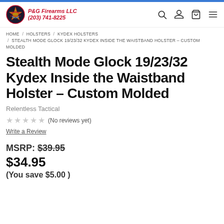P&G Firearms LLC (203) 741-8225
HOME / HOLSTERS / KYDEX HOLSTERS / STEALTH MODE GLOCK 19/23/32 KYDEX INSIDE THE WAISTBAND HOLSTER – CUSTOM MOLDED
Stealth Mode Glock 19/23/32 Kydex Inside the Waistband Holster – Custom Molded
Relentless Tactical
★★★★★ (No reviews yet)
Write a Review
MSRP: $39.95
$34.95
(You save $5.00 )